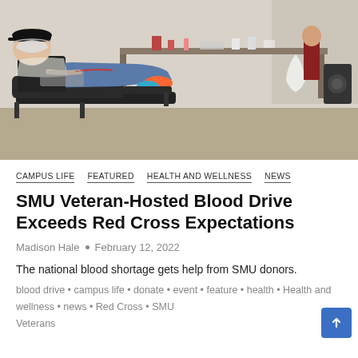[Figure (photo): A blood drive venue with a person lying in a donation chair wearing a face mask and baseball cap, dressed in dark shirt and jeans with orange sneakers. Medical equipment and staff are visible in the background at tables in a carpeted room.]
CAMPUS LIFE   FEATURED   HEALTH AND WELLNESS   NEWS
SMU Veteran-Hosted Blood Drive Exceeds Red Cross Expectations
Madison Hale  •  February 12, 2022
The national blood shortage gets help from SMU donors.
blood drive • campus life • donate • event • feature • health • Health and wellness • news • Red Cross • SMU Veterans